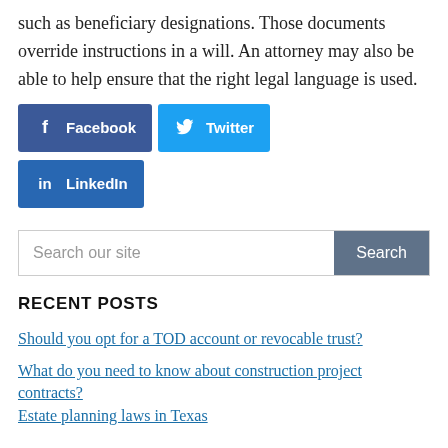such as beneficiary designations. Those documents override instructions in a will. An attorney may also be able to help ensure that the right legal language is used.
[Figure (infographic): Social sharing buttons: Facebook (dark blue), Twitter (light blue), LinkedIn (medium blue)]
Search our site
RECENT POSTS
Should you opt for a TOD account or revocable trust?
What do you need to know about construction project contracts?
Estate planning laws in Texas